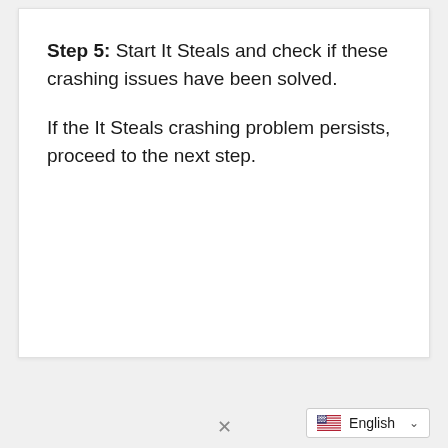Step 5: Start It Steals and check if these crashing issues have been solved.
If the It Steals crashing problem persists, proceed to the next step.
English